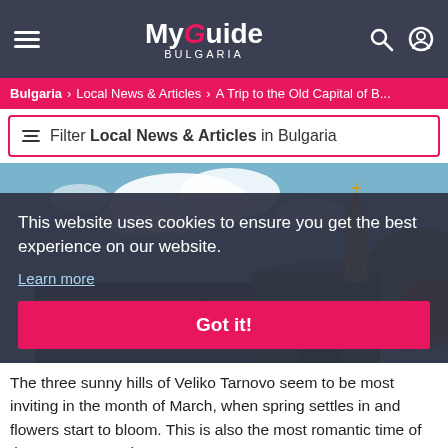My Guide BULGARIA
Bulgaria > Local News & Articles > A Trip to the Old Capital of B...
Filter Local News & Articles in Bulgaria
[Figure (photo): Photo of Veliko Tarnovo old capital with church tower and hill fortress, blue sky with clouds]
This website uses cookies to ensure you get the best experience on our website.
Learn more
Got it!
The three sunny hills of Veliko Tarnovo seem to be most inviting in the month of March, when spring settles in and flowers start to bloom. This is also the most romantic time of the year to marvel at